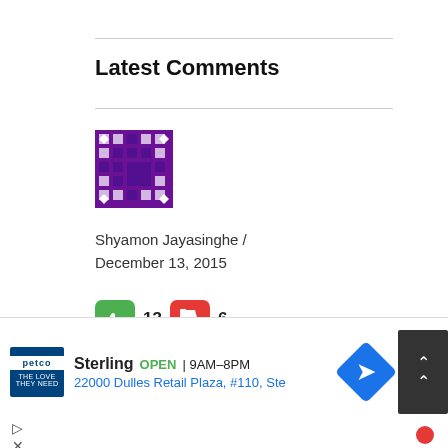Latest Comments
[Figure (illustration): Purple pixel/identicon avatar image for Shyamon Jayasinghe]
Shyamon Jayasinghe / December 13, 2015
[Figure (infographic): Thumbs up (green, 13) and thumbs down (red, 6) vote buttons]
No doubt there are a number of holes in the YP government. Much of it arises from the vital need to keep the government strong
[Figure (infographic): Petco Sterling advertisement: OPEN 9AM-8PM, 22000 Dulles Retail Plaza, #110, Ste]